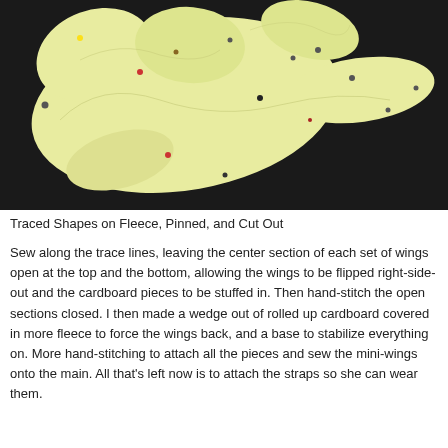[Figure (photo): Yellow fleece fabric pieces traced into wing shapes, pinned with colored pins and cut out, laid on a dark surface.]
Traced Shapes on Fleece, Pinned, and Cut Out
Sew along the trace lines, leaving the center section of each set of wings open at the top and the bottom, allowing the wings to be flipped right-side-out and the cardboard pieces to be stuffed in. Then hand-stitch the open sections closed. I then made a wedge out of rolled up cardboard covered in more fleece to force the wings back, and a base to stabilize everything on. More hand-stitching to attach all the pieces and sew the mini-wings onto the main. All that's left now is to attach the straps so she can wear them.